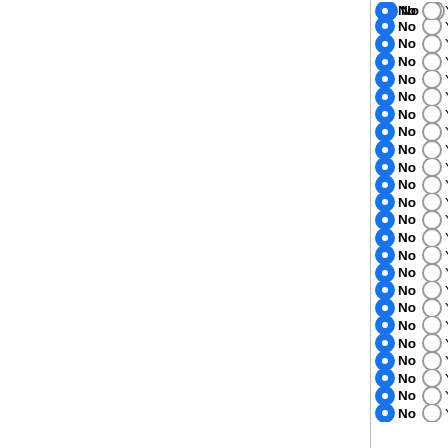No / Yes — Acinetobacter baumannii SD
No / Yes — Acinetobacter baumannii MD
No / Yes — Acinetobacter baumannii AB
No / Yes — Acinetobacter baumannii AC
No / Yes — Aeropyrum camini SY1 = JC
No / Yes — Sulfolobus islandicus LAL14
No / Yes — Sulfolobus islandicus REY15
No / Yes — Sulfolobus islandicus HVE10
No / Yes — Sulfolobus islandicus Y.G.57
No / Yes — Sulfolobus islandicus L.S.2.1
No / Yes — Sulfolobus islandicus M.16.2
No / Yes — Sulfolobus islandicus M.14.2
No / Yes — Sulfolobus islandicus M.16.4
No / Yes — Sulfolobus islandicus L.D.8.5
No / Yes — Sulfolobus solfataricus 98/2
No / Yes — Sulfolobus acidocaldarius SU
No / Yes — Sulfolobus acidocaldarius Ro
No / Yes — Sulfolobus acidocaldarius N8
No / Yes — Ferroplasma acidarmanus fe
No / Yes — Natronococcus occultus SP4
No / Yes — Haloquadratum walsbyi C23
No / Yes — Natronomonas moolapensis
No / Yes — Haloarcula hispanica N601
No / Yes — Homo sapiens 75_37 (old ve